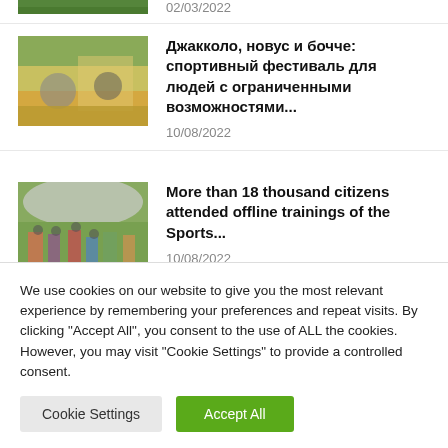[Figure (photo): Partially visible sports image at top of page (cropped)]
02/03/2022
[Figure (photo): People playing bocce or similar game on a gym floor]
Джакколо, новус и бочче: спортивный фестиваль для людей с ограниченными возможностями...
10/08/2022
[Figure (photo): People doing yoga or fitness outdoors under a tent]
More than 18 thousand citizens attended offline trainings of the Sports...
10/08/2022
We use cookies on our website to give you the most relevant experience by remembering your preferences and repeat visits. By clicking "Accept All", you consent to the use of ALL the cookies. However, you may visit "Cookie Settings" to provide a controlled consent.